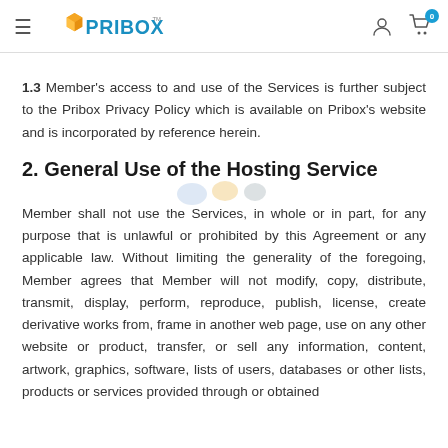PRIBOX navigation header with logo and cart icon
1.3 Member's access to and use of the Services is further subject to the Pribox Privacy Policy which is available on Pribox's website and is incorporated by reference herein.
2. General Use of the Hosting Service
Member shall not use the Services, in whole or in part, for any purpose that is unlawful or prohibited by this Agreement or any applicable law. Without limiting the generality of the foregoing, Member agrees that Member will not modify, copy, distribute, transmit, display, perform, reproduce, publish, license, create derivative works from, frame in another web page, use on any other website or product, transfer, or sell any information, content, artwork, graphics, software, lists of users, databases or other lists, products or services provided through or obtained